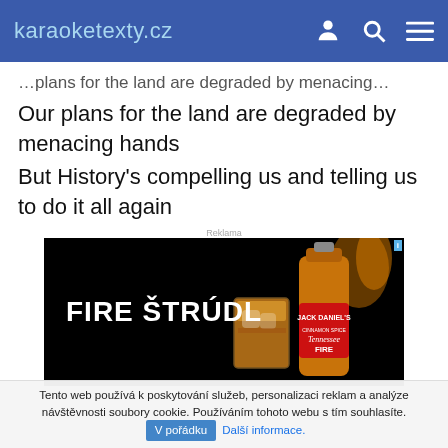karaoketexty.cz
Our plans for the land are degraded by menacing hands
But History's compelling us and telling us to do it all again
[Figure (photo): Advertisement for Fire Štrúdl (Jack Daniel's Tennessee Fire) showing the product name in bold white text against a black background with a bottle and glass of whiskey on ice.]
Tento web používá k poskytování služeb, personalizaci reklam a analýze návštěvnosti soubory cookie. Používáním tohoto webu s tím souhlasíte. V pořádku Další informace.